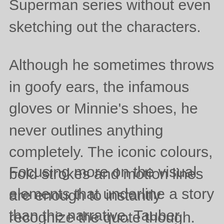Superman series without even sketching out the characters.
Although he sometimes throws in goofy ears, the infamous gloves or Minnie’s shoes, he never outlines anything completely. The iconic colours, bold strokes and motion lines are enough to instantly recognize the quote though.
Focusing more on the visual elements that underline a story than the narrative, Tauber deconstructs and recomposes the comic worlds. Remarkably this process keeps the concrete shapes and actions without actually telling a clear story